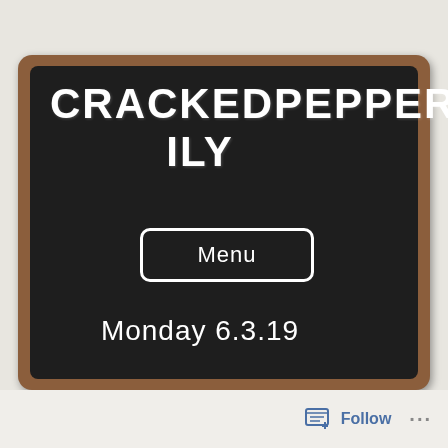CRACKEDPEPPERDAILY
Menu
Monday 6.3.19
Follow ...